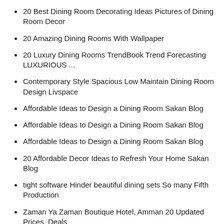20 Best Dining Room Decorating Ideas Pictures of Dining Room Decor
20 Amazing Dining Rooms With Wallpaper
20 Luxury Dining Rooms TrendBook Trend Forecasting LUXURIOUS ...
Contemporary Style Spacious Low Maintain Dining Room Design Livspace
Affordable Ideas to Design a Dining Room Sakan Blog
Affordable Ideas to Design a Dining Room Sakan Blog
Affordable Ideas to Design a Dining Room Sakan Blog
20 Affordable Decor Ideas to Refresh Your Home Sakan Blog
tight software Hinder beautiful dining sets So many Fifth Production
Zaman Ya Zaman Boutique Hotel, Amman 20 Updated Prices, Deals
Inara Camp, Morocco Timbuktu Travel